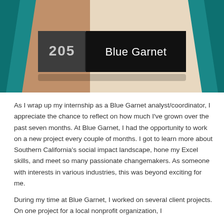[Figure (photo): Photo of an office door sign reading '205 Blue Garnet' mounted on a wall, with teal decorative elements on either side of the image.]
As I wrap up my internship as a Blue Garnet analyst/coordinator, I appreciate the chance to reflect on how much I've grown over the past seven months. At Blue Garnet, I had the opportunity to work on a new project every couple of months. I got to learn more about Southern California's social impact landscape, hone my Excel skills, and meet so many passionate changemakers. As someone with interests in various industries, this was beyond exciting for me.
During my time at Blue Garnet, I worked on several client projects. On one project for a local nonprofit organization, I